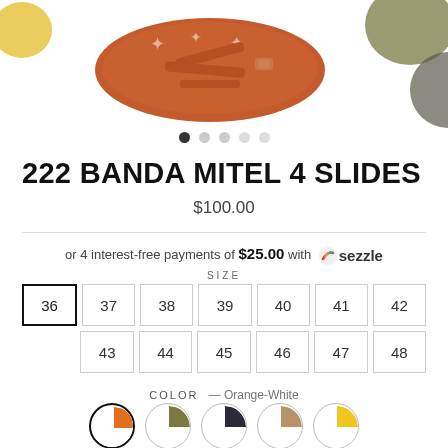[Figure (photo): Product photo of 222 Banda Mitel 4 Slides in orange/rust color with white tribal pattern, shown from multiple angles across the top of the page]
222 BANDA MITEL 4 SLIDES
$100.00
or 4 interest-free payments of $25.00 with Sezzle
SIZE
36 37 38 39 40 41 42 43 44 45 46 47 48
COLOR — Orange-White
[Figure (illustration): Five color swatches in circular form: Orange-White (selected, with black border), Olive-White, Navy-White, Tan-White, Yellow-White]